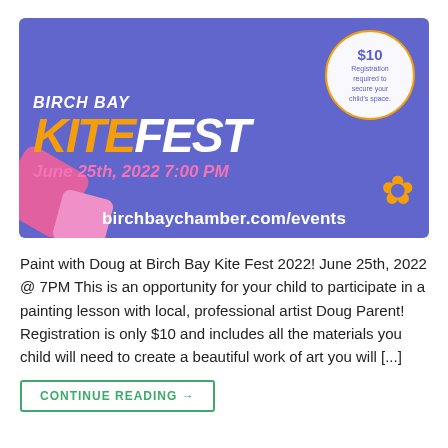[Figure (illustration): Birch Bay Kite Fest 2022 promotional banner. Blue/purple background with a child holding a painting. Text reads: BIRCH BAY KITEFEST, June 25th, 2022 7:00 PM, birchbaychamber.com/events. Circle badge: $10 Registration required to secure your child's space. Pink and orange decorative shapes.]
Paint with Doug at Birch Bay Kite Fest 2022! June 25th, 2022 @ 7PM This is an opportunity for your child to participate in a painting lesson with local, professional artist Doug Parent! Registration is only $10 and includes all the materials you child will need to create a beautiful work of art you will [...]
CONTINUE READING →